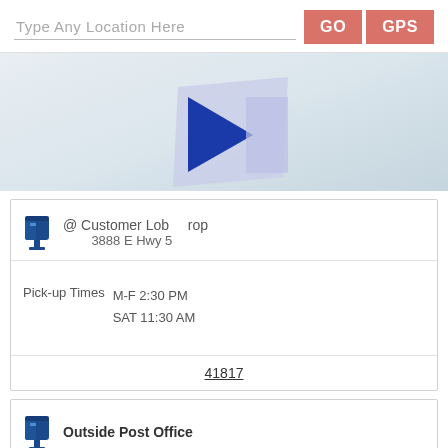Type Any Location Here
[Figure (screenshot): Map area showing a light gray/blue map background with an arrow/navigation pointer overlay in blue and light purple]
@ Customer Lobby Drop
3888 E Hwy 5
Pick-up Times
M-F 2:30 PM
SAT 11:30 AM
41817
Outside Post Office